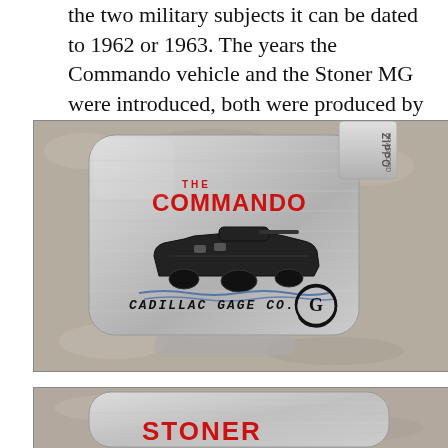the two military subjects it can be dated to 1962 or 1963. The years the Commando vehicle and the Stoner MG were introduced, both were produced by Cadillac Gage.
[Figure (photo): Photograph of a Zippo lighter with brushed metal finish. The lighter features 'THE COMMANDO' text in red, a black illustration of the Commando armored vehicle/boat, and 'CADILLAC GAGE CO.' text with their logo in black at the bottom.]
[Figure (photo): Partial photograph of a second Zippo lighter showing the beginning of 'STONER' text in red at the bottom of the frame, with similar brushed metal finish.]